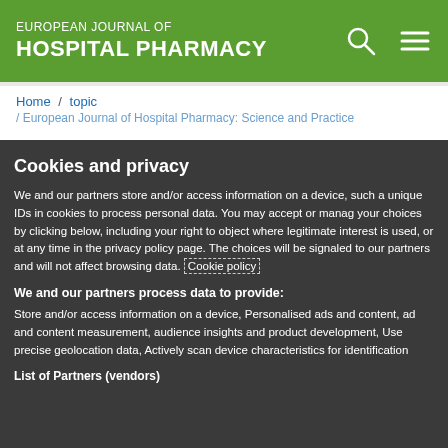EUROPEAN JOURNAL OF HOSPITAL PHARMACY
Home / topic / European Journal of Hospital Pharmacy: Science and Practice
Cookies and privacy
We and our partners store and/or access information on a device, such as unique IDs in cookies to process personal data. You may accept or manage your choices by clicking below, including your right to object where legitimate interest is used, or at any time in the privacy policy page. These choices will be signaled to our partners and will not affect browsing data. Cookie policy
We and our partners process data to provide:
Store and/or access information on a device, Personalised ads and content, ad and content measurement, audience insights and product development, Use precise geolocation data, Actively scan device characteristics for identification
List of Partners (vendors)